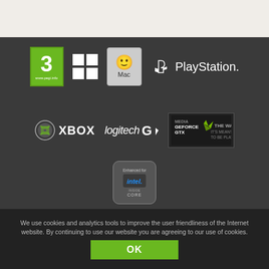[Figure (logo): Top light-colored header bar area]
[Figure (logo): PEGI 3 rating logo, Windows logo, Mac Finder logo, PlayStation logo - platform compatibility logos on dark background]
[Figure (logo): Xbox logo, Logitech G logo, NVIDIA GeForce GTX 'The Way It's Meant To Be Played' logo]
[Figure (logo): Intel Core 'Enhanced for' badge logo]
We use cookies and analytics tools to improve the user friendliness of the Internet website. By continuing to use our website you are agreeing to our use of cookies.
OK